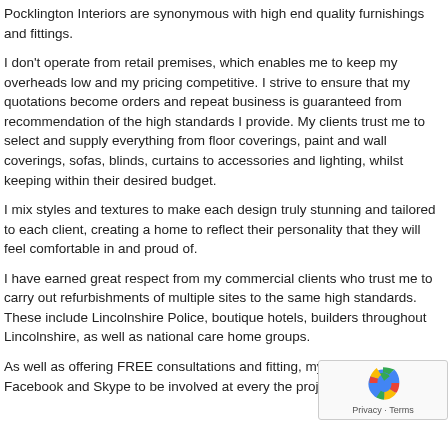Pocklington Interiors are synonymous with high end quality furnishings and fittings.
I don't operate from retail premises, which enables me to keep my overheads low and my pricing competitive. I strive to ensure that my quotations become orders and repeat business is guaranteed from recommendation of the high standards I provide. My clients trust me to select and supply everything from floor coverings, paint and wall coverings, sofas, blinds, curtains to accessories and lighting, whilst keeping within their desired budget.
I mix styles and textures to make each design truly stunning and tailored to each client, creating a home to reflect their personality that they will feel comfortable in and proud of.
I have earned great respect from my commercial clients who trust me to carry out refurbishments of multiple sites to the same high standards. These include Lincolnshire Police, boutique hotels, builders throughout Lincolnshire, as well as national care home groups.
As well as offering FREE consultations and fitting, my client in contact via Facebook and Skype to be involved at every the project.